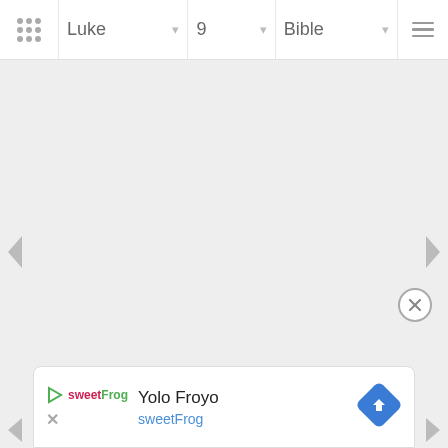Luke 9 Bible
[Figure (screenshot): Bible app navigation bar with grid icon, Luke dropdown, 9 dropdown, Bible dropdown, and hamburger menu]
[Figure (screenshot): Empty gray content area with left and right navigation arrows]
[Figure (screenshot): Ad card for Yolo Froyo by sweetFrog with navigation diamond icon and close button]